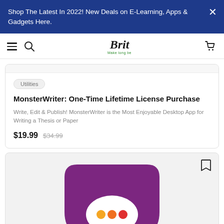Shop The Latest In 2022! New Deals on E-Learning, Apps & Gadgets Here.
[Figure (screenshot): Website navigation bar with hamburger menu, search icon, Brit logo, and shopping cart icon]
Utilities
MonsterWriter: One-Time Lifetime License Purchase
Write, Edit & Publish! MonsterWriter is the Most Enjoyable Desktop App for Writing a Thesis or Paper
$19.99  $34.99
[Figure (logo): App logo: purple play-button shape with white speech bubble and three dots (orange, orange, red) in the center, partially visible]